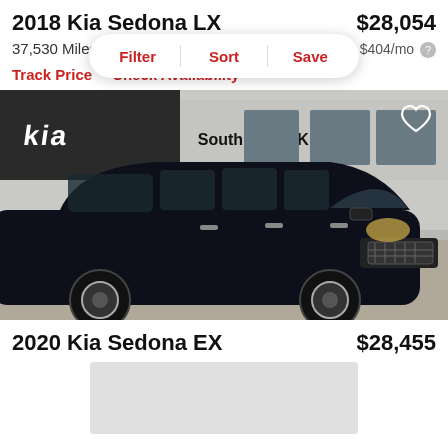2018 Kia Sedona LX
$28,054
37,530 Miles | C
est. $404/mo
Filter  Sort  Save
Track Price   Check Availability
[Figure (photo): Black 2018 Kia Sedona LX minivan parked in front of South Shore Kia dealership building]
2020 Kia Sedona EX
$28,455